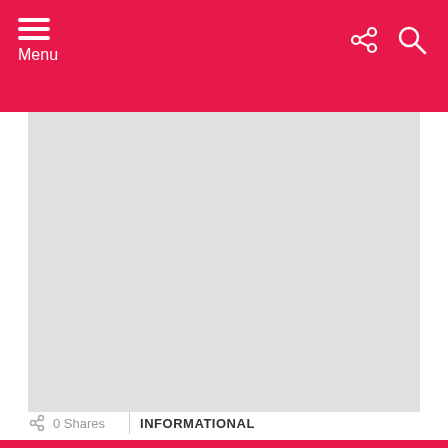Menu
[Figure (photo): Large placeholder image area with light gray background]
0 Shares
INFORMATIONAL
Crowd Surfing: The Joys and Dangers of a Decades-Long Concert Tradition